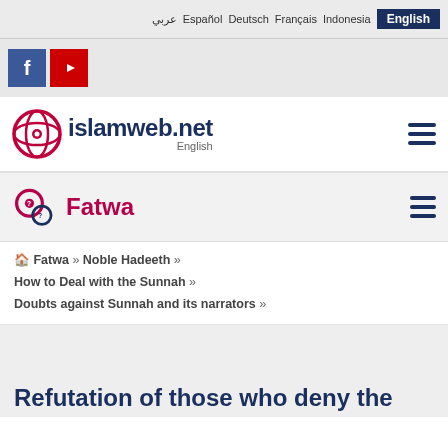عربي  Español  Deutsch  Français  Indonesia  English
[Figure (logo): Facebook and YouTube social media icons]
[Figure (logo): islamweb.net English logo with red circular icon and hamburger menu]
Fatwa
Fatwa » Noble Hadeeth » How to Deal with the Sunnah » Doubts against Sunnah and its narrators »
Refutation of those who deny the